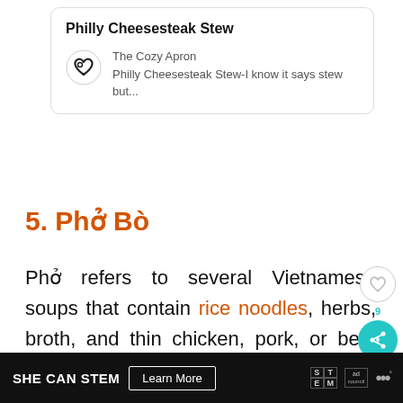[Figure (other): Recipe card with title 'Philly Cheesesteak Stew', heart logo icon, source 'The Cozy Apron', and description 'Philly Cheesesteak Stew-I know it says stew but...']
5. Phở Bò
Phở refers to several Vietnamese soups that contain rice noodles, herbs, broth, and thin chicken, pork, or beef slices.
In this case, beef soups of this kind referred to as Phở Bò and call for thin sl
[Figure (other): Floating UI buttons: heart outline button and teal share button with count 9]
[Figure (other): What's Next banner: image of Dutch oven dish, text 'WHAT'S NEXT → 30 Of The Best Dutch Oven...']
[Figure (other): Advertisement banner: SHE CAN STEM, Learn More button, STEM logo, Ad Council logo, dots logo]